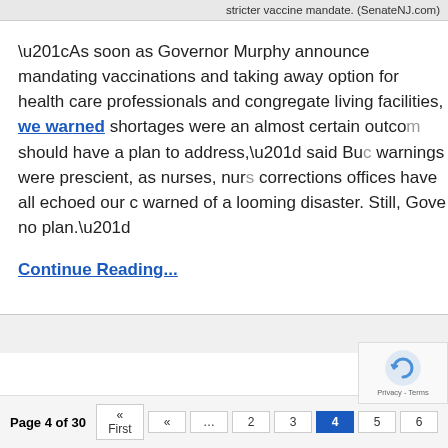stricter vaccine mandate. (SenateNJ.com)
“As soon as Governor Murphy announced mandating vaccinations and taking away the option for health care professionals and congregate living facilities, we warned that shortages were an almost certain outcome he should have a plan to address,” said Bu… warnings were prescient, as nurses, nur… corrections offices have all echoed our c… warned of a looming disaster. Still, Gove… no plan.”
Continue Reading…
Page 4 of 30  « First  «  …  2  3  4  5  6